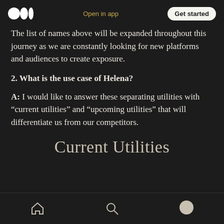Medium logo | Open in app | Get started
The list of names above will be expanded throughout this journey as we are constantly looking for new platforms and audiences to create exposure.
2. What is the use case of Helena?
A: I would like to answer these separating utilities with “current utilities” and “upcoming utilities” that will differentiate us from our competitors.
Current Utilities
Home | Search | Profile